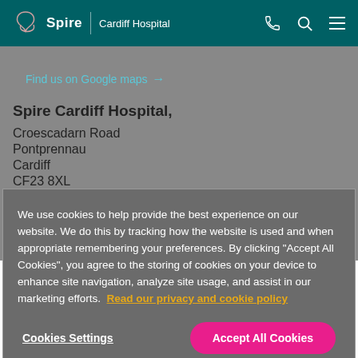Spire | Cardiff Hospital
Find us on Google maps →
Spire Cardiff Hospital,
Croescadarn Road
Pontprennau
Cardiff
CF23 8XL
We use cookies to help provide the best experience on our website. We do this by tracking how the website is used and when appropriate remembering your preferences. By clicking "Accept All Cookies", you agree to the storing of cookies on your device to enhance site navigation, analyze site usage, and assist in our marketing efforts. Read our privacy and cookie policy
Cookies Settings
Accept All Cookies